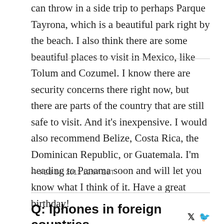can throw in a side trip to perhaps Parque Tayrona, which is a beautiful park right by the beach. I also think there are some beautiful places to visit in Mexico, like Tolum and Cozumel. I know there are security concerns there right now, but there are parts of the country that are still safe to visit. And it's inexpensive. I would also recommend Belize, Costa Rica, the Dominican Republic, or Guatemala. I'm heading to Panama soon and will let you know what I think of it. Have a great birthday!
— FEB 14, 2011 12:57 EST
Q: Iphones in foreign countries